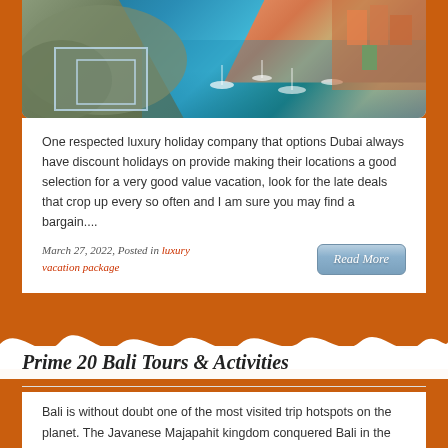[Figure (photo): Aerial view of a coastal harbor town with turquoise water, boats, stone breakwater, and colorful hillside buildings]
One respected luxury holiday company that options Dubai always have discount holidays on provide making their locations a good selection for a very good value vacation, look for the late deals that crop up every so often and I am sure you may find a bargain....
March 27, 2022, Posted in luxury vacation package
Read More
Prime 20 Bali Tours & Activities
Bali is without doubt one of the most visited trip hotspots on the planet. The Javanese Majapahit kingdom conquered Bali in the thirteenth century by vanquishing the semi-demonic king of Bali at the time. 'Dalam